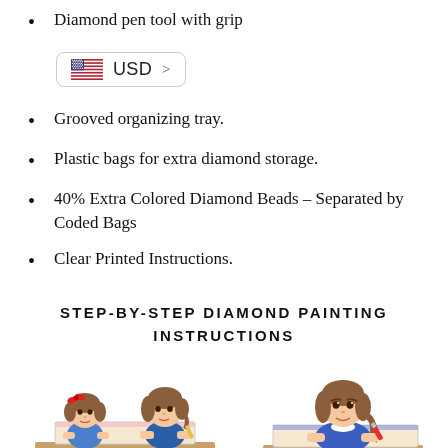Diamond pen tool with grip
[Figure (other): USD currency selector button with US flag icon]
Grooved organizing tray.
Plastic bags for extra diamond storage.
40% Extra Colored Diamond Beads – Separated by Coded Bags
Clear Printed Instructions.
STEP-BY-STEP DIAMOND PAINTING INSTRUCTIONS
[Figure (illustration): Two cartoon illustrations of girls doing diamond painting activities]